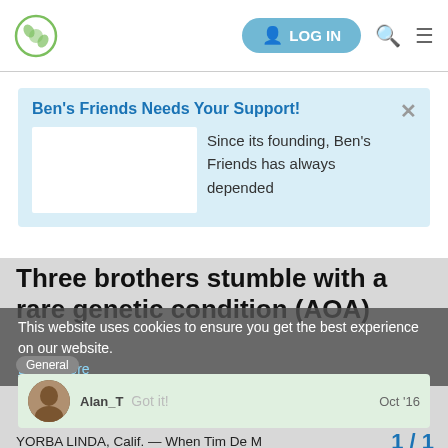LOG IN
Ben's Friends Needs Your Support!
Since its founding, Ben's Friends has always depended
Three brothers stumble with a rare genetic condition (AOA)
This website uses cookies to ensure you get the best experience on our website.
Learn more
General
Alan_T  Got it!  Oct '16
YORBA LINDA, Calif. — When Tim De M bouts of clumsiness as a teen, he knew s
1 / 1